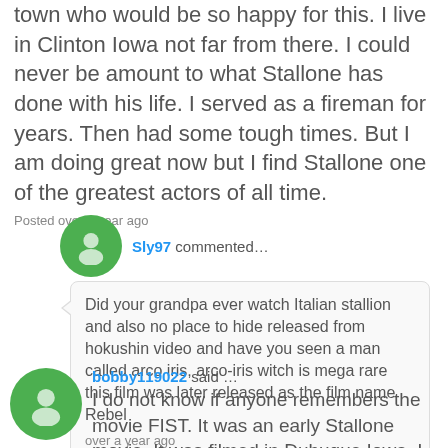town who would be so happy for this. I live in Clinton Iowa not far from there. I could never be amount to what Stallone has done with his life. I served as a fireman for years. Then had some tough times. But I am doing great now but I find Stallone one of the greatest actors of all time.
Posted over a year ago
Sly97 commented…
Did your grandpa ever watch Italian stallion and also no place to hide released from hokushin video and have you seen a man called arco iris, arco-iris witch is mega rare this film was later released as the film name Rebel
over a year ago
bobby119022 said …
I do not know if anyone remembers the movie FIST. It was an early Stallone movie. It was filmed in Dubuque Iowa. I